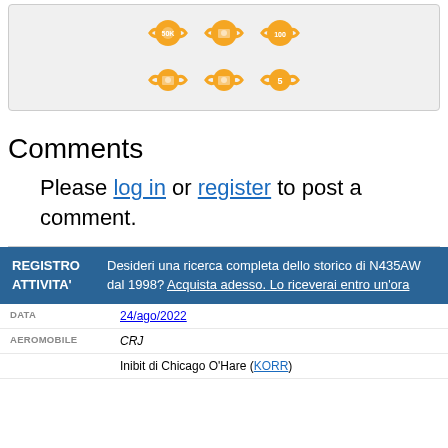[Figure (illustration): Orange aviation badge icons arranged in two rows inside a grey rounded box]
Comments
Please log in or register to post a comment.
| REGISTRO ATTIVITA' |  |
| --- | --- |
| DATA | 24/ago/2022 |
| AEROMOBILE | CRJ |
|  | Inibit di Chicago O'Hare (KORR) |